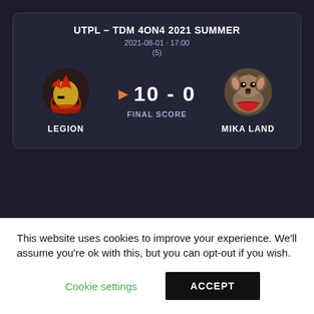UTPL – TDM 4ON4 2021 SUMMER
2021-08-01 · 17:00
(5)
[Figure (illustration): Roman/gladiator helmet logo for team LEGION]
[Figure (photo): Small dog (Yorkshire Terrier) wearing a red bandana for team MIKA LAND]
10 - 0 FINAL SCORE
LEGION
MIKA LAND
This website uses cookies to improve your experience. We'll assume you're ok with this, but you can opt-out if you wish.
Cookie settings
ACCEPT